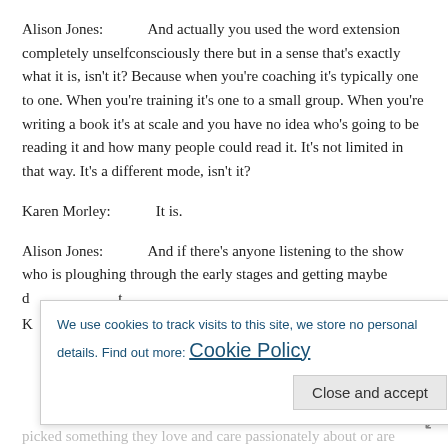Alison Jones:   And actually you used the word extension completely unselfconsciously there but in a sense that's exactly what it is, isn't it? Because when you're coaching it's typically one to one. When you're training it's one to a small group. When you're writing a book it's at scale and you have no idea who's going to be reading it and how many people could read it. It's not limited in that way. It's a different mode, isn't it?
Karen Morley:   It is.
Alison Jones:   And if there's anyone listening to the show who is ploughing through the early stages and getting maybe d... th...
K...
picked something they love and care passionately about or are
We use cookies to track visits to this site, we store no personal details. Find out more: Cookie Policy